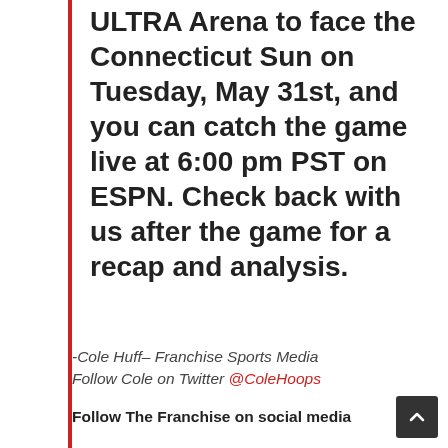ULTRA Arena to face the Connecticut Sun on Tuesday, May 31st, and you can catch the game live at 6:00 pm PST on ESPN. Check back with us after the game for a recap and analysis.
-Cole Huff– Franchise Sports Media
Follow Cole on Twitter @ColeHoops
Follow The Franchise on social media